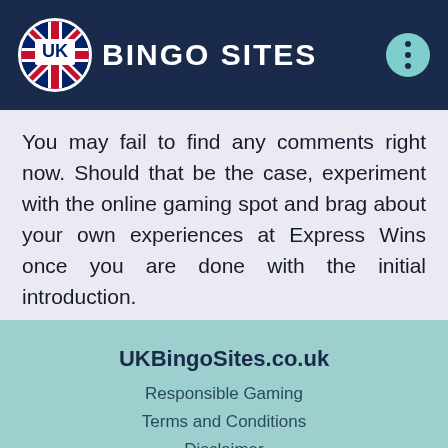UK BINGO SITES
You may fail to find any comments right now. Should that be the case, experiment with the online gaming spot and brag about your own experiences at Express Wins once you are done with the initial introduction.
UKBingoSites.co.uk
Responsible Gaming
Terms and Conditions
Disclaimer
Contact Us